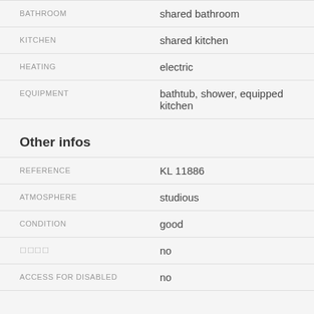| Field | Value |
| --- | --- |
| BATHROOM | shared bathroom |
| KITCHEN | shared kitchen |
| HEATING | electric |
| EQUIPMENT | bathtub, shower, equipped kitchen |
Other infos
| Field | Value |
| --- | --- |
| REFERENCE | KL 11886 |
| ATMOSPHERE | studious |
| CONDITION | good |
| ???? | no |
| ACCESS FOR DISABLED | no |